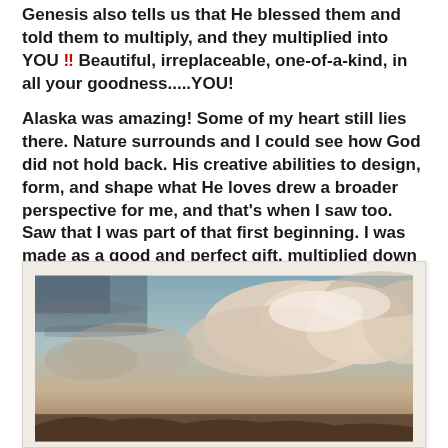Genesis also tells us that He blessed them and told them to multiply, and they multiplied into YOU !! Beautiful, irreplaceable, one-of-a-kind, in all your goodness.....YOU!
Alaska was amazing! Some of my heart still lies there. Nature surrounds and I could see how God did not hold back. His creative abilities to design, form, and shape what He loves drew a broader perspective for me, and that's when I saw too. Saw that I was part of that first beginning. I was made as a good and perfect gift, multiplied down from Eve.
[Figure (photo): Polaroid-style photograph of a dramatic sky with blue tones and large billowing clouds, mountains or landscape visible at the bottom, vintage warm-toned filter applied.]